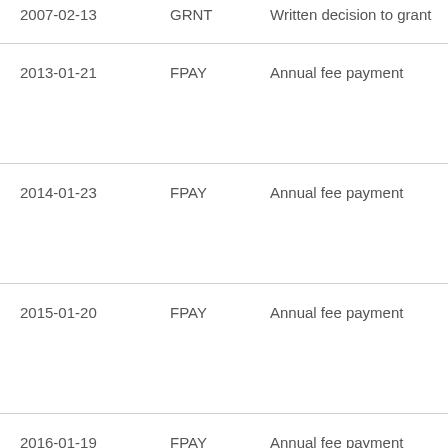| 2007-02-13 | GRNT | Written decision to grant |
| 2013-01-21 | FPAY | Annual fee payment |
| 2014-01-23 | FPAY | Annual fee payment |
| 2015-01-20 | FPAY | Annual fee payment |
| 2016-01-19 | FPAY | Annual fee payment |